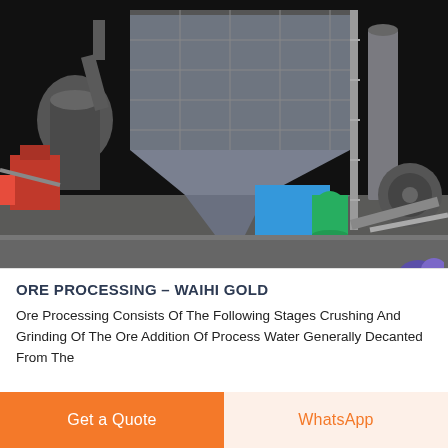[Figure (photo): Industrial ore processing facility at night showing large dust collector/baghouse unit with steel scaffolding, grey industrial tanks and equipment, a green pressurized vessel, blue box, and red machinery on concrete ground. Live Chat badge visible in top-right corner.]
ORE PROCESSING – WAIHI GOLD
Ore Processing Consists Of The Following Stages Crushing And Grinding Of The Ore Addition Of Process Water Generally Decanted From The